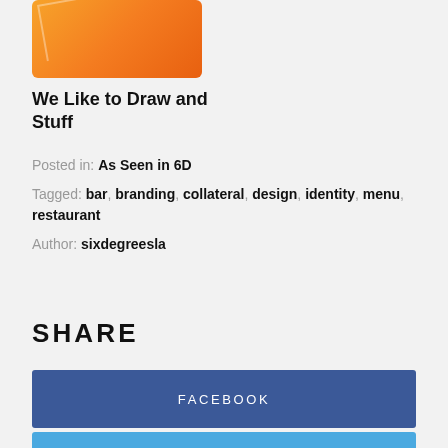[Figure (illustration): Orange gradient thumbnail image with a faint diagonal line, rounded corners]
We Like to Draw and Stuff
Posted in: As Seen in 6D
Tagged: bar, branding, collateral, design, identity, menu, restaurant
Author: sixdegreesla
SHARE
FACEBOOK
TWITTER